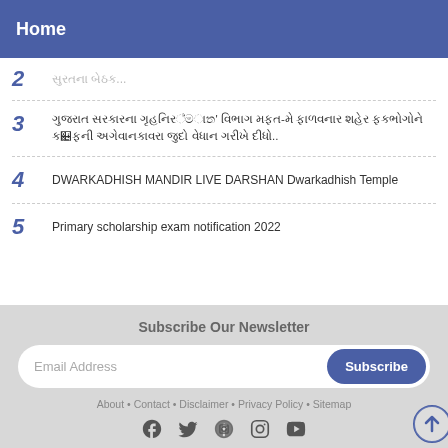Home
2  [truncated text in non-Latin script]
3  [non-Latin script text - two lines]
4  DWARKADHISH MANDIR LIVE DARSHAN Dwarkadhish Temple
5  Primary scholarship exam notification 2022
Subscribe Our Newsletter
Email Address  Subscribe
About • Contact • Disclaimer • Privacy Policy • Sitemap